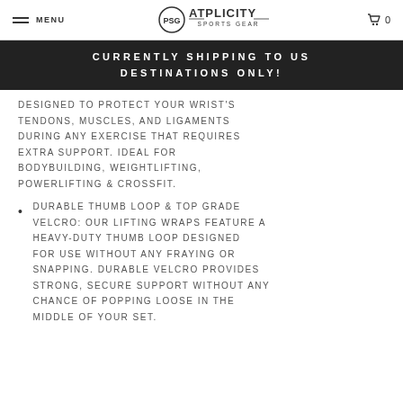MENU | PSG ATPLICITY SPORTS GEAR | 0
CURRENTLY SHIPPING TO US DESTINATIONS ONLY!
DESIGNED TO PROTECT YOUR WRIST'S TENDONS, MUSCLES, AND LIGAMENTS DURING ANY EXERCISE THAT REQUIRES EXTRA SUPPORT. IDEAL FOR BODYBUILDING, WEIGHTLIFTING, POWERLIFTING & CROSSFIT.
DURABLE THUMB LOOP & TOP GRADE VELCRO: OUR LIFTING WRAPS FEATURE A HEAVY-DUTY THUMB LOOP DESIGNED FOR USE WITHOUT ANY FRAYING OR SNAPPING. DURABLE VELCRO PROVIDES STRONG, SECURE SUPPORT WITHOUT ANY CHANCE OF POPPING LOOSE IN THE MIDDLE OF YOUR SET.